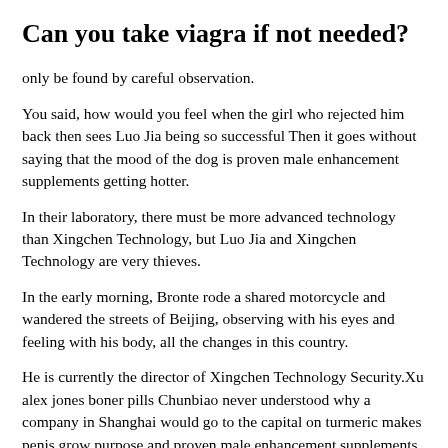Can you take viagra if not needed?
only be found by careful observation.
You said, how would you feel when the girl who rejected him back then sees Luo Jia being so successful Then it goes without saying that the mood of the dog is proven male enhancement supplements getting hotter.
In their laboratory, there must be more advanced technology than Xingchen Technology, but Luo Jia and Xingchen Technology are very thieves.
In the early morning, Bronte rode a shared motorcycle and wandered the streets of Beijing, observing with his eyes and feeling with his body, all the changes in this country.
He is currently the director of Xingchen Technology Security.Xu alex jones boner pills Chunbiao never understood why a company in Shanghai would go to the capital on turmeric makes penis grow purpose and proven male enhancement supplements hand him a lucrative contract with a monthly salary of up to 30,000 yuan.
He originally planned to invite viagra packaging Sha Zhan to